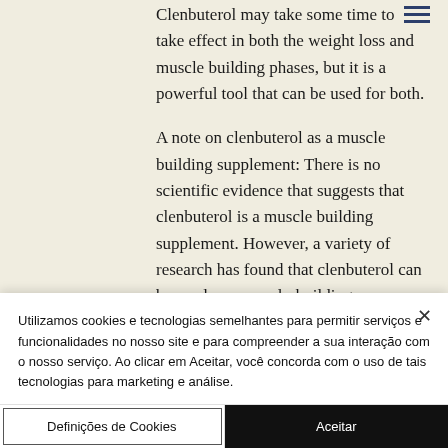Clenbuterol may take some time to take effect in both the weight loss and muscle building phases, but it is a powerful tool that can be used for both.

A note on clenbuterol as a muscle building supplement: There is no scientific evidence that suggests that clenbuterol is a muscle building supplement. However, a variety of research has found that clenbuterol can be used as a muscle-building supplement in some ways. For example, when taking this muscle building supplement, it has been
Utilizamos cookies e tecnologias semelhantes para permitir serviços e funcionalidades no nosso site e para compreender a sua interação com o nosso serviço. Ao clicar em Aceitar, você concorda com o uso de tais tecnologias para marketing e análise.